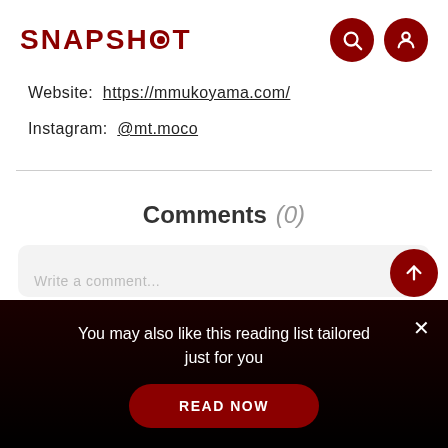SNAPSHOT
Website: https://mmukoyama.com/
Instagram: @mt.moco
Comments (0)
You may also like this reading list tailored just for you
READ NOW